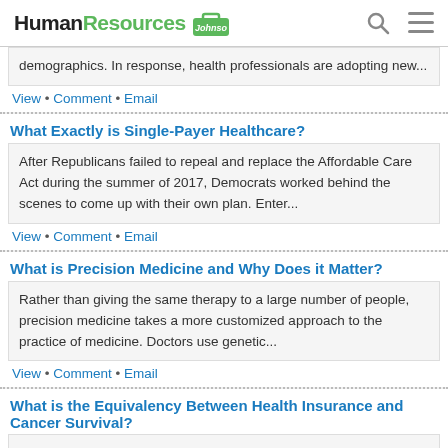HumanResources [logo]
demographics. In response, health professionals are adopting new...
View • Comment • Email
What Exactly is Single&#45;Payer Healthcare?
After Republicans failed to repeal and replace the Affordable Care Act during the summer of 2017, Democrats worked behind the scenes to come up with their own plan. Enter...
View • Comment • Email
What is Precision Medicine and Why Does it Matter?
Rather than giving the same therapy to a large number of people, precision medicine takes a more customized approach to the practice of medicine. Doctors use genetic...
View • Comment • Email
What is the Equivalency Between Health Insurance and Cancer Survival?
A June 2017 study published by the...